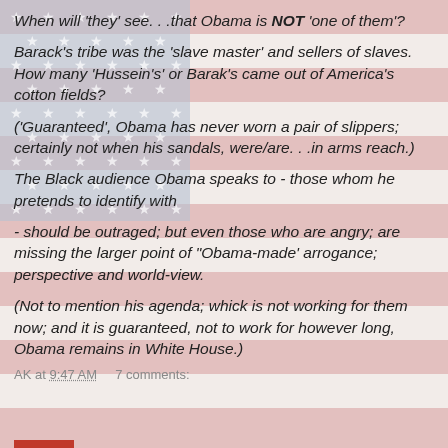[Figure (illustration): Faded American flag background with red and white stripes and blue canton with white stars, used as a watermark/background image behind the text content.]
When will 'they' see. . .that Obama is NOT 'one of them'?
Barack's tribe was the 'slave master' and sellers of slaves. How many 'Hussein's' or Barak's came out of America's cotton fields?
('Guaranteed', Obama has never worn a pair of slippers; certainly not when his sandals, were/are. . .in arms reach.)
The Black audience Obama speaks to - those whom he pretends to identify with
- should be outraged; but even those who are angry; are missing the larger point of "Obama-made' arrogance; perspective and world-view.
(Not to mention his agenda; whick is not working for them now; and it is guaranteed, not to work for however long, Obama remains in White House.)
AK at 9:47 AM    7 comments: